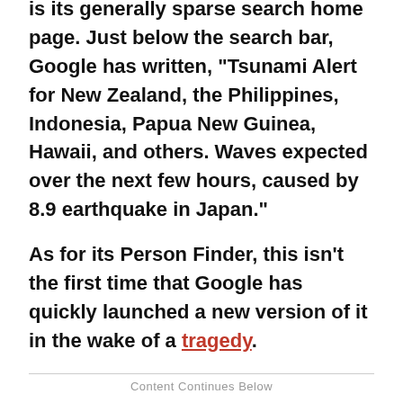Google also posted a tsunami warning on what is its generally sparse search home page. Just below the search bar, Google has written, "Tsunami Alert for New Zealand, the Philippines, Indonesia, Papua New Guinea, Hawaii, and others. Waves expected over the next few hours, caused by 8.9 earthquake in Japan."
As for its Person Finder, this isn't the first time that Google has quickly launched a new version of it in the wake of a tragedy.
Content Continues Below
In February of last year, Google created a Chili-